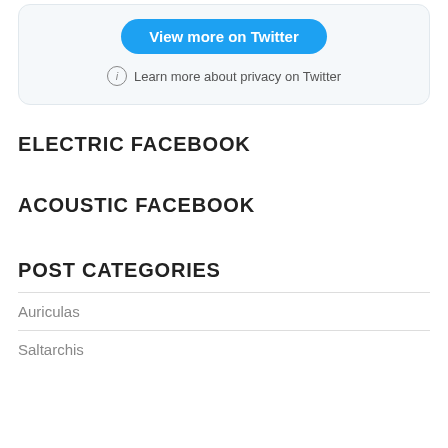[Figure (screenshot): Twitter embed card with blue 'View more on Twitter' button and privacy info link]
ELECTRIC FACEBOOK
ACOUSTIC FACEBOOK
POST CATEGORIES
Auriculas
Saltarchis